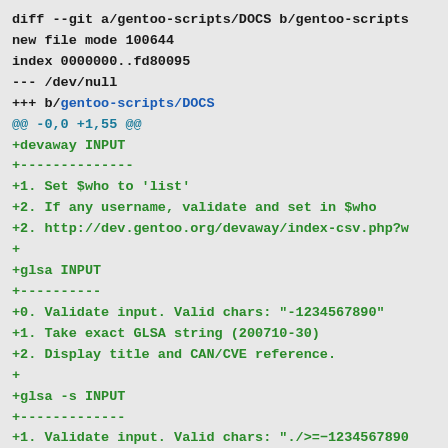diff --git a/gentoo-scripts/DOCS b/gentoo-scripts
new file mode 100644
index 0000000..fd80095
--- /dev/null
+++ b/gentoo-scripts/DOCS
@@ -0,0 +1,55 @@
+devaway INPUT
+--------------
+1. Set $who to 'list'
+2. If any username, validate and set in $who
+2. http://dev.gentoo.org/devaway/index-csv.php?w
++
+glsa INPUT
+----------
+0. Validate input. Valid chars: "-1234567890"
+1. Take exact GLSA string (200710-30)
+2. Display title and CAN/CVE reference.
++
+glsa -s INPUT
+-------------
+1. Validate input. Valid chars: "./>=−1234567890